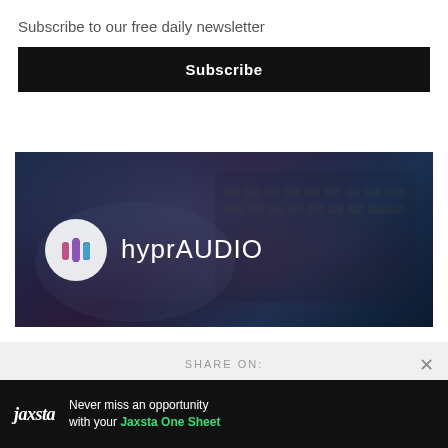Subscribe to our free daily newsletter
Subscribe
[Figure (logo): hyprAUDIO brand image with dark blue/purple background showing a hand on a laptop keyboard, with the hyprAUDIO logo (circle icon with three colorful bars and the wordmark 'hyprAUDIO' in white)]
SHARE ON:
[Figure (screenshot): Blue tweet/share button partially visible]
Never miss an opportunity with your Jaxsta One Sheet